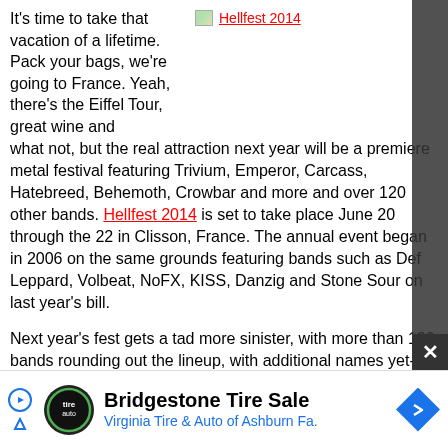[Figure (photo): Small image placeholder icon next to red link text 'Hellfest 2014']
It's time to take that vacation of a lifetime. Pack your bags, we're going to France. Yeah, there's the Eiffel Tour, great wine and what not, but the real attraction next year will be a premiere metal festival featuring Trivium, Emperor, Carcass, Hatebreed, Behemoth, Crowbar and more and over 120 other bands. Hellfest 2014 is set to take place June 20 through the 22 in Clisson, France. The annual event began in 2006 on the same grounds featuring bands such as Def Leppard, Volbeat, NoFX, KISS, Danzig and Stone Sour on last year's bill.
Next year's fest gets a tad more sinister, with more than 120 bands rounding out the lineup, with additional names yet-to-be confirmed. Check the start of the list below.
UPDATE: Black Sabbath, Iron Maiden, Aerosmith, Slayer and many other bands are confirmed to the final lineup p...
[Figure (infographic): Advertisement banner: Bridgestone Tire Sale - Virginia Tire & Auto of Ashburn Fa.]